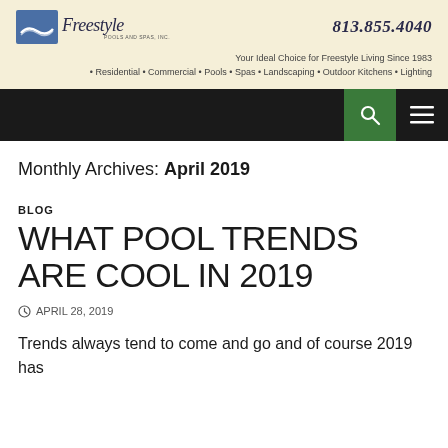Freestyle Pools and Spas, Inc. | 813.855.4040 | Your Ideal Choice for Freestyle Living Since 1983 • Residential • Commercial • Pools • Spas • Landscaping • Outdoor Kitchens • Lighting
Monthly Archives: April 2019
BLOG
WHAT POOL TRENDS ARE COOL IN 2019
APRIL 28, 2019
Trends always tend to come and go and of course 2019 has